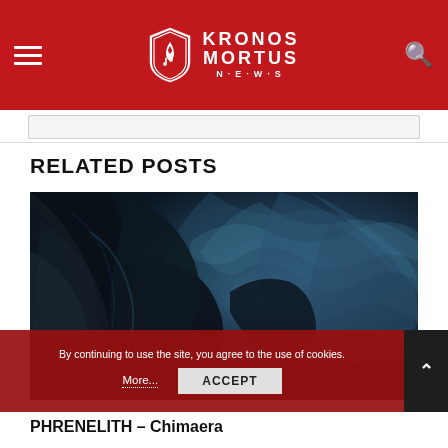KRONOS MORTUS NEWS
RELATED POSTS
[Figure (photo): Dark fantasy artwork showing a black winged creature or chimera against a blue-toned stormy background]
By continuing to use the site, you agree to the use of cookies.
More...   ACCEPT
PHRENELITH – Chimaera